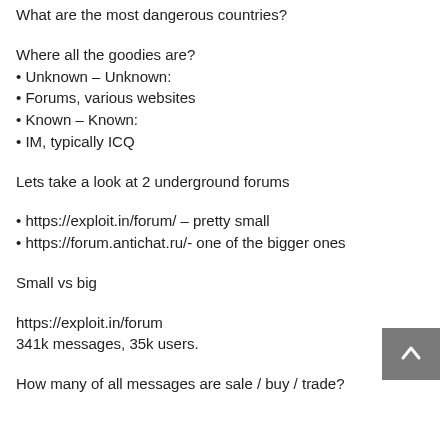What are the most dangerous countries?
Where all the goodies are?
• Unknown – Unknown:
• Forums, various websites
• Known – Known:
• IM, typically ICQ
Lets take a look at 2 underground forums
• https://exploit.in/forum/ – pretty small
• https://forum.antichat.ru/- one of the bigger ones
Small vs big
https://exploit.in/forum
341k messages, 35k users.
How many of all messages are sale / buy / trade?